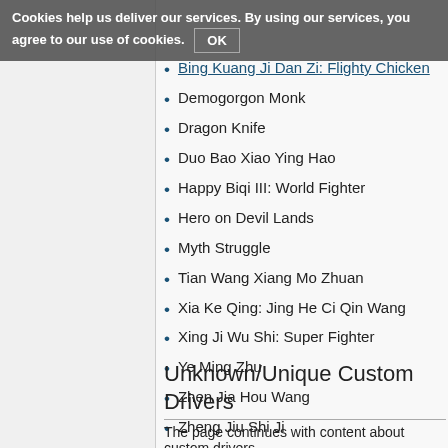Bing Kuang Ji Dan Zi: Flighty Chicken
Demogorgon Monk
Dragon Knife
Duo Bao Xiao Ying Hao
Happy Biqi III: World Fighter
Hero on Devil Lands
Myth Struggle
Tian Wang Xiang Mo Zhuan
Xia Ke Qing: Jing He Ci Qin Wang
Xing Ji Wu Shi: Super Fighter
Ye Ming Zhu
Zhen Jia Hou Wang
Zheng Jiu Shi Ji
Unknown/Unique Custom Drivers
The page continues with content about custom drivers